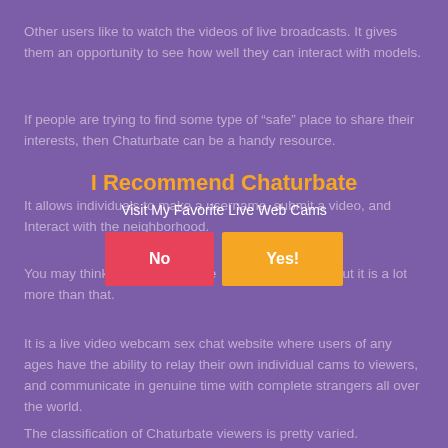Other users like to watch the videos of live broadcasts. It gives them an opportunity to see how well they can interact with models.
If people are trying to find some type of “safe” place to share their interests, then Chaturbate can be a handy resource.
It allows individuals to make a username, submit a video, and Interact with the neighborhood.
[Figure (infographic): Overlay popup with title 'I Recommend Chaturbate', subtitle 'Visit My Favorite Live Web Cams', and two buttons: 'No' in pink/red and 'Yes!' in orange.]
You may think about Chaturbate as only a porn site, but it is a lot more than that.
It is a live video webcam sex chat website where users of any ages have the ability to relay their own individual cams to viewers, and communicate in genuine time with complete strangers all over the world.
The classification of Chaturbate viewers is pretty varied.